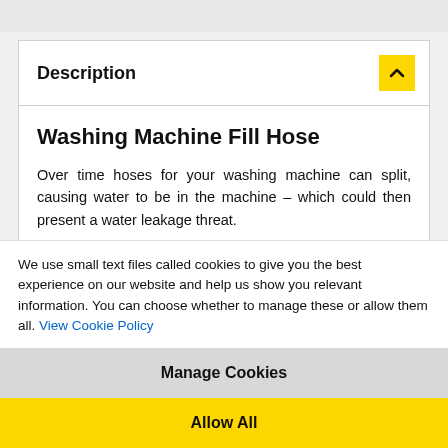Description
Washing Machine Fill Hose
Over time hoses for your washing machine can split, causing water to be in the machine – which could then present a water leakage threat.
The in-fill hose connects your washing machine to the water supply. If you have any issues with your washing machines
We use small text files called cookies to give you the best experience on our website and help us show you relevant information. You can choose whether to manage these or allow them all. View Cookie Policy
Manage Cookies
Allow All